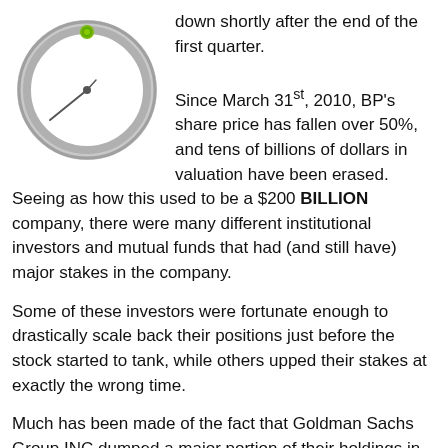[Figure (other): A circular gauge/compass with a gray bezel, showing a small green BP logo dot at the top and a gray needle pointing toward the lower-left.]
down shortly after the end of the first quarter.

Since March 31st, 2010, BP's share price has fallen over 50%, and tens of billions of dollars in valuation have been erased.
Seeing as how this used to be a $200 BILLION company, there were many different institutional investors and mutual funds that had (and still have) major stakes in the company.
Some of these investors were fortunate enough to drastically scale back their positions just before the stock started to tank, while others upped their stakes at exactly the wrong time.
Much has been made of the fact that Goldman Sachs Group INC dumped a major portion of their holdings in BP just